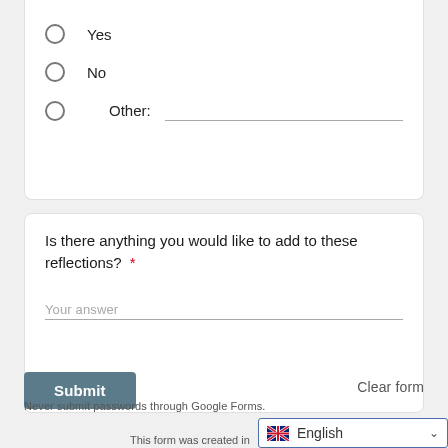Yes
No
Other:
Is there anything you would like to add to these reflections? *
Your answer
Submit
Clear form
Never submit passwords through Google Forms.
This form was created in...
English